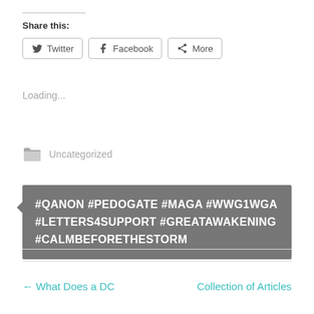Share this:
Twitter   Facebook   More
Loading...
Uncategorized
#QANON #PEDOGATE #MAGA #WWG1WGA #LETTERS4SUPPORT #GREATAWAKENING #CALMBEFORETHESTORM
← What Does a DC
Collection of Articles